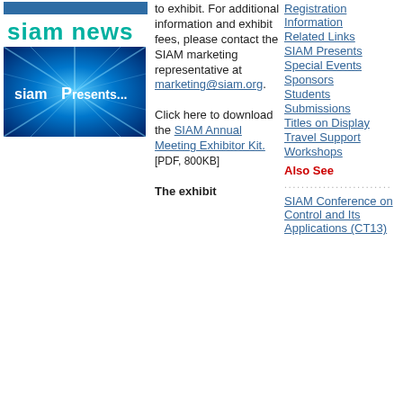[Figure (logo): Blue navigation banner bar]
[Figure (logo): SIAM News logo in teal/cyan colored text]
[Figure (photo): SIAM Presents promotional image with blue light burst background and white text]
to exhibit. For additional information and exhibit fees, please contact the SIAM marketing representative at marketing@siam.org.
Registration Information
Related Links
SIAM Presents
Special Events
Sponsors
Students
Submissions
Titles on Display
Travel Support
Workshops
Also See
SIAM Conference on Control and Its Applications (CT13)
Click here to download the SIAM Annual Meeting Exhibitor Kit. [PDF, 800KB]
The exhibit